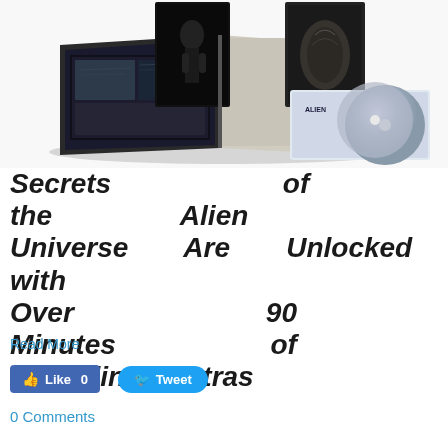[Figure (photo): Product photo showing an Alien franchise Blu-ray collector's set with an open art book displaying movie stills, DVD discs, and box art packaging.]
Secrets of the Alien Universe Are Unlocked with Over 90 Minutes of Revealing Extras
Read More
Like 0   Tweet
0 Comments